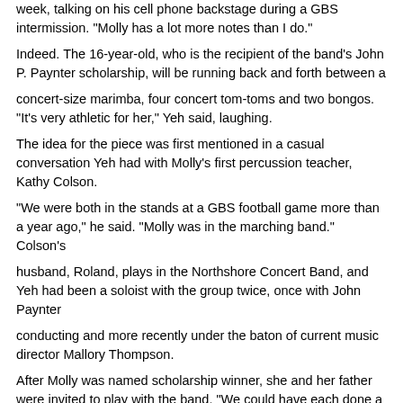week, talking on his cell phone backstage during a GBS intermission. "Molly has a lot more notes than I do."
Indeed. The 16-year-old, who is the recipient of the band's John P. Paynter scholarship, will be running back and forth between a
concert-size marimba, four concert tom-toms and two bongos. "It's very athletic for her," Yeh said, laughing.
The idea for the piece was first mentioned in a casual conversation Yeh had with Molly's first percussion teacher, Kathy Colson.
"We were both in the stands at a GBS football game more than a year ago," he said. "Molly was in the marching band." Colson's
husband, Roland, plays in the Northshore Concert Band, and Yeh had been a soloist with the group twice, once with John Paynter
conducting and more recently under the baton of current music director Mallory Thompson.
After Molly was named scholarship winner, she and her father were invited to play with the band. "We could have each done a
number, but I thought how nice if we could play a piece together -- perhaps commission a piece," Yeh said. "Mrs. Colson said
that was a wonderful idea."
GBS band director Greg Wojcik was consulted and the school agreed to co-commission the work with the band. NU's Burritt was